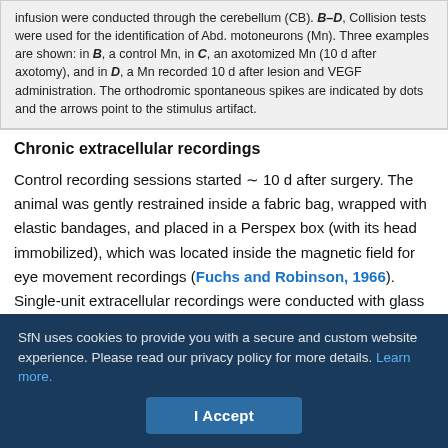infusion were conducted through the cerebellum (CB). B–D, Collision tests were used for the identification of Abd. motoneurons (Mn). Three examples are shown: in B, a control Mn, in C, an axotomized Mn (10 d after axotomy), and in D, a Mn recorded 10 d after lesion and VEGF administration. The orthodromic spontaneous spikes are indicated by dots and the arrows point to the stimulus artifact.
Chronic extracellular recordings
Control recording sessions started ~10 d after surgery. The animal was gently restrained inside a fabric bag, wrapped with elastic bandages, and placed in a Perspex box (with its head immobilized), which was located inside the magnetic field for eye movement recordings (Fuchs and Robinson, 1966). Single-unit extracellular recordings were conducted with glass micropipettes filled with 2 m NaCl, attached to a three-axis micromanipulator and advanced
SfN uses cookies to provide you with a secure and custom website experience. Please read our privacy policy for more details. Learn more